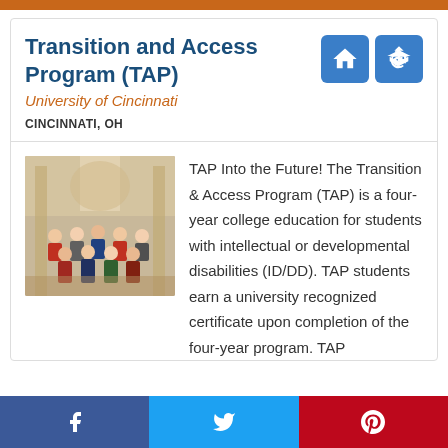Transition and Access Program (TAP)
University of Cincinnati
CINCINNATI, OH
[Figure (photo): Group photo of students seated and standing inside a building with ornate architecture]
TAP Into the Future! The Transition & Access Program (TAP) is a four-year college education for students with intellectual or developmental disabilities (ID/DD). TAP students earn a university recognized certificate upon completion of the four-year program. TAP